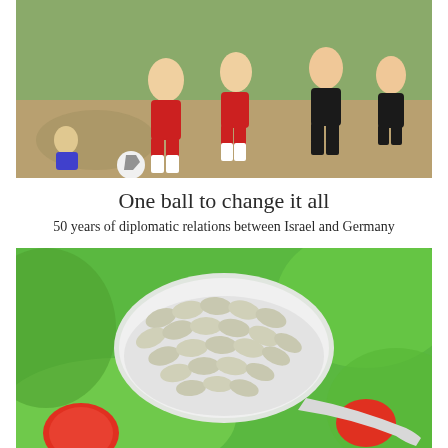[Figure (photo): Soccer players in action on a field; players wearing red and white uniforms competing against players in black and white uniforms, with a ball visible near the ground]
One ball to change it all
50 years of diplomatic relations between Israel and Germany
[Figure (photo): A large spoon filled with white/beige supplement capsules/pills, surrounded by green lettuce leaves and red tomatoes in the background]